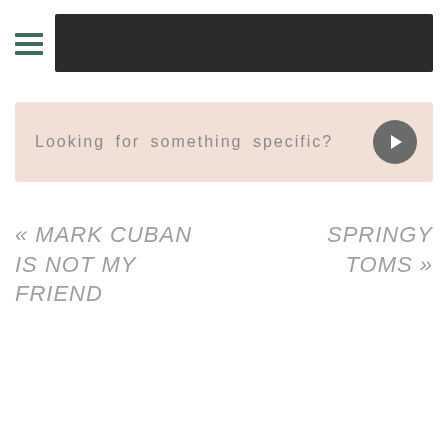[Figure (other): Navigation header with hamburger menu icon (three horizontal green lines) and a black rectangular bar]
Looking for something specific?
« MARK CUBAN IS NOT MY FRIEND
SPRINGY TOMS »